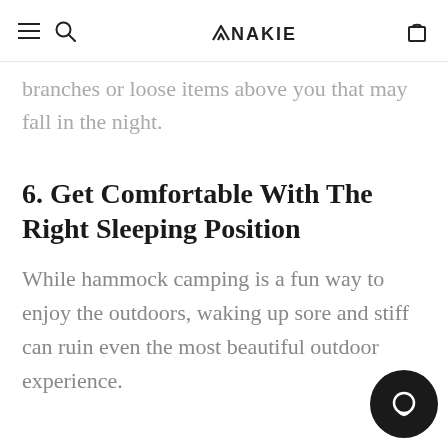NAKIE
grip. Ensure that there are no dead branches or loose items above you that may fall in the night.
6. Get Comfortable With The Right Sleeping Position
While hammock camping is a fun way to enjoy the outdoors, waking up sore and stiff can ruin even the most beautiful outdoor experience.